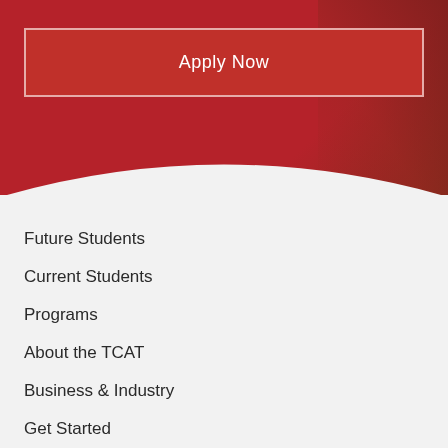[Figure (photo): Red hero banner background with a person partially visible on the right side]
Apply Now
Future Students
Current Students
Programs
About the TCAT
Business & Industry
Get Started
Financial Aid Application Process
TNPromise and Scholarship/Grants
Tuition and Fees
CARES Act/HEERF